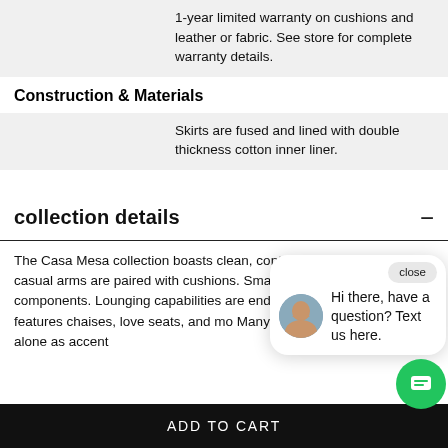1-year limited warranty on cushions and leather or fabric. See store for complete warranty details.
Construction & Materials
Skirts are fused and lined with double thickness cotton inner liner.
collection details
The Casa Mesa collection boasts clean, contemporary lines in a casual arms are paired cushions. Small perfect modern and its components. Lounging capabilities are endless, as Casa Mesa features chaises, love seats, and mo Many of these pieces can stand alone as accent
close
Hi there, have a question? Text us here.
ADD TO CART